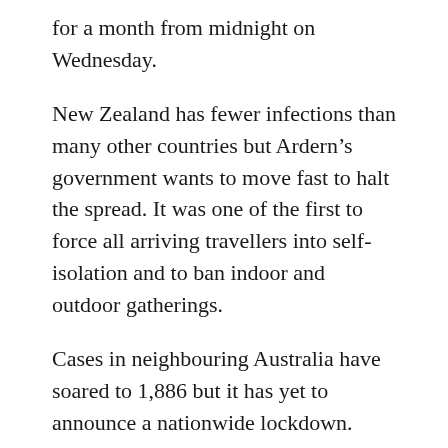for a month from midnight on Wednesday.
New Zealand has fewer infections than many other countries but Ardern’s government wants to move fast to halt the spread. It was one of the first to force all arriving travellers into self-isolation and to ban indoor and outdoor gatherings.
Cases in neighbouring Australia have soared to 1,886 but it has yet to announce a nationwide lockdown.
“Simplest thing is to stay at home … that’s how we will save lives,” Ardern told a news conference at parliament.
“The underlying principle of an alert level 4 is to